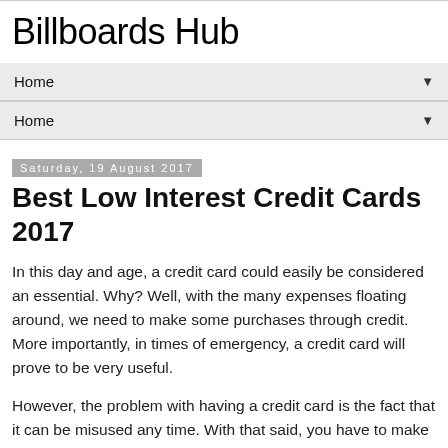Billboards Hub
Home ▼
Home ▼
Saturday, 19 August 2017
Best Low Interest Credit Cards 2017
In this day and age, a credit card could easily be considered an essential. Why? Well, with the many expenses floating around, we need to make some purchases through credit. More importantly, in times of emergency, a credit card will prove to be very useful.
However, the problem with having a credit card is the fact that it can be misused any time. With that said, you have to make sure to track your purchases made with the card. In addition to that, do not make the mistake of paying late as